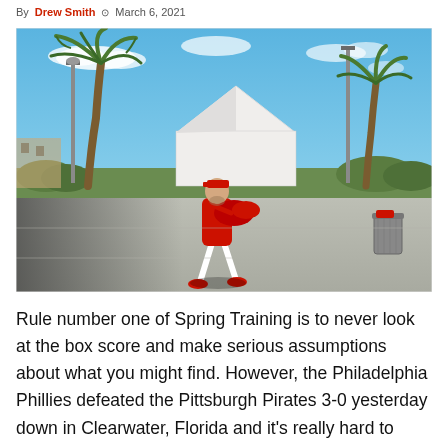By Drew Smith  March 6, 2021
[Figure (photo): A baseball player in a red Phillies uniform carrying a large red equipment bag, walking across a paved area at spring training in Clearwater, Florida. Palm trees and a white tent structure are visible in the background under a blue sky.]
Rule number one of Spring Training is to never look at the box score and make serious assumptions about what you might find. However, the Philadelphia Phillies defeated the Pittsburgh Pirates 3-0 yesterday down in Clearwater, Florida and it's really hard to ignore how great pitching was for the